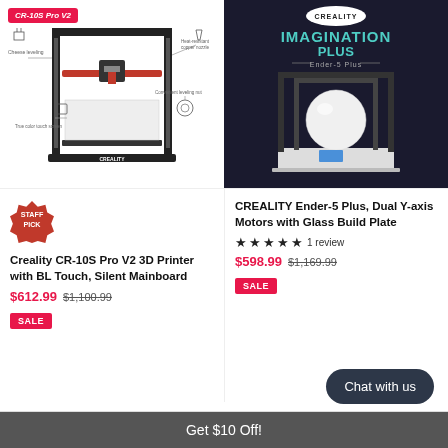[Figure (photo): Creality CR-10S Pro V2 3D printer product photo with feature callouts: Cheese leveling, Heat-resistant copper nozzle, Convenient leveling nut, True color touch screen. Red 'CR-10S Pro V2' label top left.]
[Figure (photo): Creality Ender-5 Plus 3D printer on dark background with CREALITY logo, 'IMAGINATION PLUS' text in teal, 'Ender-5 Plus' subtitle, white sphere inside print volume.]
[Figure (logo): Staff Pick badge — red hexagonal stamp with 'STAFF PICK' text]
Creality CR-10S Pro V2 3D Printer with BL Touch, Silent Mainboard
$612.99  $1,100.99
SALE
CREALITY Ender-5 Plus, Dual Y-axis Motors with Glass Build Plate
★★★★★ 1 review
$598.99  $1,169.99
SALE
Chat with us
Get $10 Off!